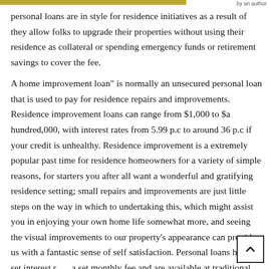by an author
personal loans are in style for residence initiatives as a result of they allow folks to upgrade their properties without using their residence as collateral or spending emergency funds or retirement savings to cover the fee.
A home improvement loan” is normally an unsecured personal loan that is used to pay for residence repairs and improvements. Residence improvement loans can range from $1,000 to $a hundred,000, with interest rates from 5.99 p.c to around 36 p.c if your credit is unhealthy. Residence improvement is a extremely popular past time for residence homeowners for a variety of simple reasons, for starters you after all want a wonderful and gratifying residence setting; small repairs and improvements are just little steps on the way in which to undertaking this, which might assist you in enjoying your own home life somewhat more, and seeing the visual improvements to our property’s appearance can provide us with a fantastic sense of self satisfaction. Personal loans have a set interest rate, a set monthly fee and are available at traditional banks, credit unions,